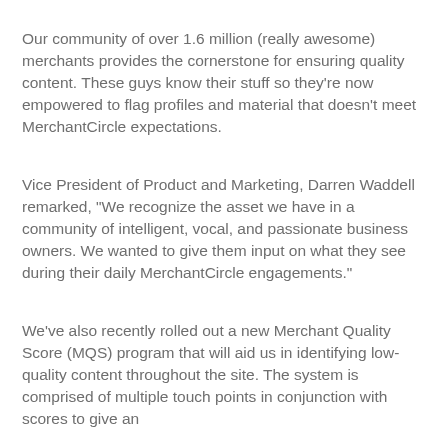Our community of over 1.6 million (really awesome) merchants provides the cornerstone for ensuring quality content. These guys know their stuff so they're now empowered to flag profiles and material that doesn't meet MerchantCircle expectations.
Vice President of Product and Marketing, Darren Waddell remarked, "We recognize the asset we have in a community of intelligent, vocal, and passionate business owners. We wanted to give them input on what they see during their daily MerchantCircle engagements."
We've also recently rolled out a new Merchant Quality Score (MQS) program that will aid us in identifying low-quality content throughout the site. The system is comprised of multiple touch points in conjunction with scores to give an